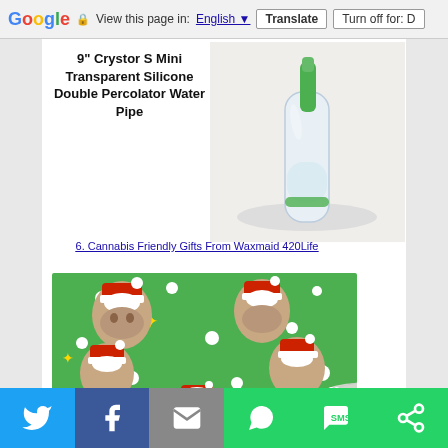Google  View this page in: English ▼  Translate  Turn off for: D
[Figure (photo): Product image of 9 inch Crystor S Mini Transparent Silicone Double Percolator Water Pipe with green accents on white background]
9" Crystor S Mini Transparent Silicone Double Percolator Water Pipe
6. Cannabis Friendly Gifts From Waxmaid 420Life
[Figure (photo): Green Christmas wrapping paper with repeated pattern of man's face wearing Santa hat, white snowflakes and gold stars, with curled corner revealing white underside]
Twitter | Facebook | Email | WhatsApp | SMS | More